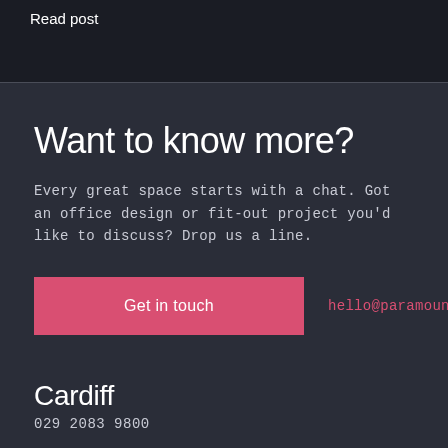Read post
Want to know more?
Every great space starts with a chat. Got an office design or fit-out project you'd like to discuss? Drop us a line.
Get in touch
hello@paramountinteriors.com
Cardiff
029 2083 9800